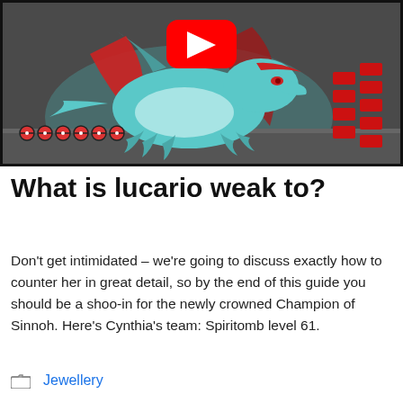[Figure (screenshot): YouTube video thumbnail showing a teal/blue dragon-like Pokémon (Salamence) in a battle scene with a red YouTube play button overlay, pokeball icons in the lower left, and red geometric bars on the right side]
What is lucario weak to?
Don't get intimidated – we're going to discuss exactly how to counter her in great detail, so by the end of this guide you should be a shoo-in for the newly crowned Champion of Sinnoh. Here's Cynthia's team: Spiritomb level 61.
Jewellery